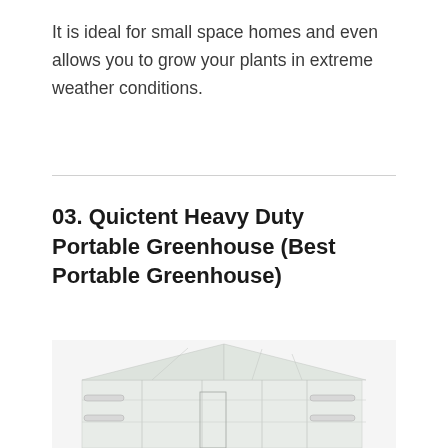It is ideal for small space homes and even allows you to grow your plants in extreme weather conditions.
03. Quictent Heavy Duty Portable Greenhouse (Best Portable Greenhouse)
[Figure (photo): Photo of a white portable greenhouse with clear plastic cover panels, showing the tunneled frame structure with roll-up windows/vents on the side, partially cropped at the bottom of the page.]